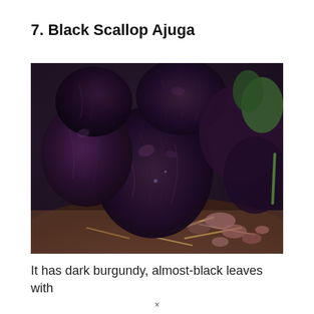7. Black Scallop Ajuga
[Figure (photo): Close-up photograph of Black Scallop Ajuga plant showing dark burgundy, almost-black, glossy, scalloped leaves with textured surfaces. Some green leaves and reddish-brown mulch visible in the background.]
It has dark burgundy, almost-black leaves with